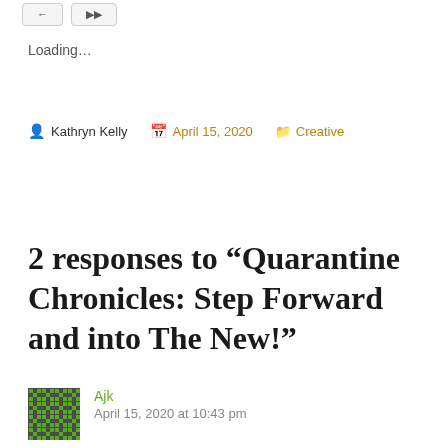Loading...
Kathryn Kelly   April 15, 2020   Creative
2 responses to “Quarantine Chronicles: Step Forward and into The New!”
Ajk
April 15, 2020 at 10:43 pm